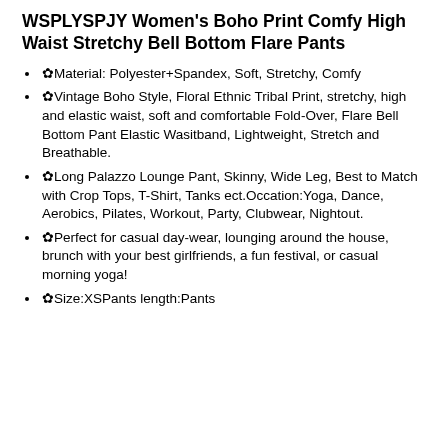WSPLYSPJY Women's Boho Print Comfy High Waist Stretchy Bell Bottom Flare Pants
✿Material: Polyester+Spandex, Soft, Stretchy, Comfy
✿Vintage Boho Style, Floral Ethnic Tribal Print, stretchy, high and elastic waist, soft and comfortable Fold-Over, Flare Bell Bottom Pant Elastic Wasitband, Lightweight, Stretch and Breathable.
✿Long Palazzo Lounge Pant, Skinny, Wide Leg, Best to Match with Crop Tops, T-Shirt, Tanks ect.Occation:Yoga, Dance, Aerobics, Pilates, Workout, Party, Clubwear, Nightout.
✿Perfect for casual day-wear, lounging around the house, brunch with your best girlfriends, a fun festival, or casual morning yoga!
✿Size:XSPants length:Pants